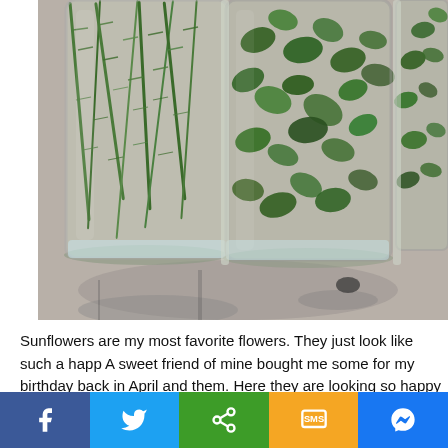[Figure (photo): Three glass jars filled with green herbs and plants sitting on a marble/granite countertop, viewed from close up. The jars contain what appear to be rosemary and other leafy herbs.]
Sunflowers are my most favorite flowers. They just look like such a happ A sweet friend of mine bought me some for my birthday back in April and them. Here they are looking so happy and bright.